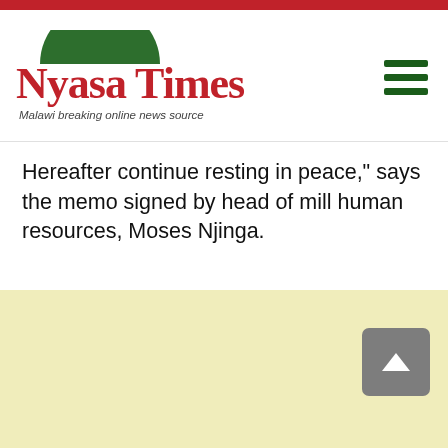Nyasa Times — Malawi breaking online news source
Hereafter continue resting in peace," says the memo signed by head of mill human resources, Moses Njinga.
[Figure (other): Light yellow background area — advertisement or content placeholder]